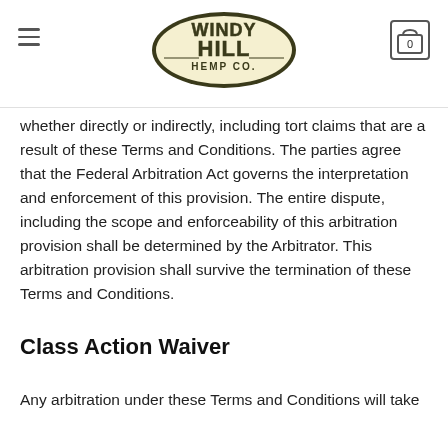Windy Hill Hemp Co. — navigation header
whether directly or indirectly, including tort claims that are a result of these Terms and Conditions. The parties agree that the Federal Arbitration Act governs the interpretation and enforcement of this provision. The entire dispute, including the scope and enforceability of this arbitration provision shall be determined by the Arbitrator. This arbitration provision shall survive the termination of these Terms and Conditions.
Class Action Waiver
Any arbitration under these Terms and Conditions will take